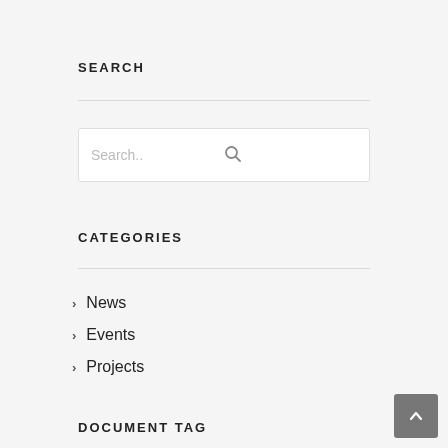SEARCH
[Figure (other): Search input box with placeholder text 'Search..' and a magnifying glass icon on the right]
CATEGORIES
News
Events
Projects
DOCUMENT TAG